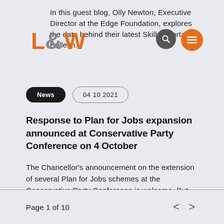In this guest blog, Olly Newton, Executive Director at the Edge Foundation, explores the data behind their latest Skills Shortage Bulletin.
[Figure (logo): L&W logo in orange and grey]
News   04 10 2021
Response to Plan for Jobs expansion announced at Conservative Party Conference on 4 October
The Chancellor's announcement on the extension of several Plan for Jobs schemes at the Conservative Party Conference is welcome. But support needs to go further.
Page 1 of 10